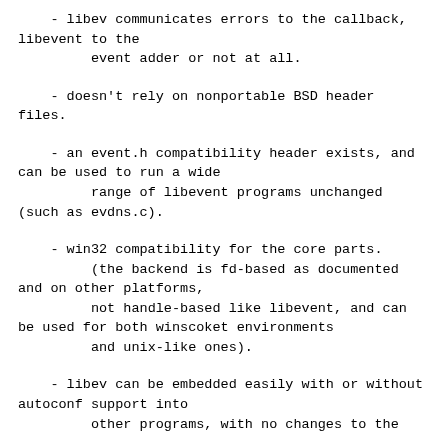- libev communicates errors to the callback, libevent to the
         event adder or not at all.
- doesn't rely on nonportable BSD header files.
- an event.h compatibility header exists, and can be used to run a wide
         range of libevent programs unchanged (such as evdns.c).
- win32 compatibility for the core parts.
         (the backend is fd-based as documented and on other platforms,
         not handle-based like libevent, and can be used for both winscoket environments
         and unix-like ones).
- libev can be embedded easily with or without autoconf support into
         other programs, with no changes to the